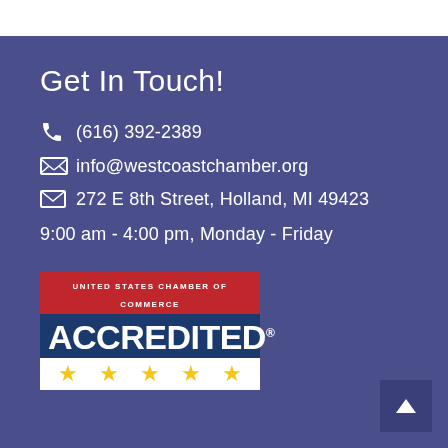Get In Touch!
(616) 392-2389
272 E 8th Street, Holland, MI 49423
info@westcoastchamber.org
9:00 am - 4:00 pm, Monday - Friday
[Figure (logo): United States Chamber of Commerce Accredited badge with 5 gold stars on white stripe, bold ACCREDITED text on blue background, red header bar with UNITED STATES CHAMBER OF COMMERCE text]